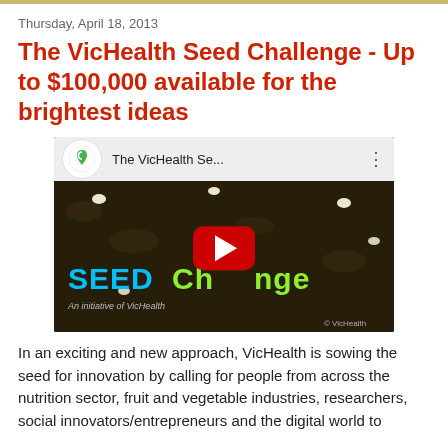Thursday, April 18, 2013
The VicHealth Seed Challenge - Up to $100,000 available for the brightest ideas
[Figure (screenshot): YouTube video thumbnail showing 'The VicHealth Se...' title with a soil/seeds background, SEED Challenge text overlay, play button, and VicHealth logo]
In an exciting and new approach, VicHealth is sowing the seed for innovation by calling for people from across the nutrition sector, fruit and vegetable industries, researchers, social innovators/entrepreneurs and the digital world to